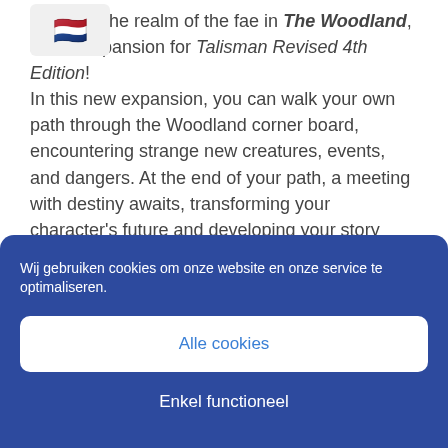Journey to the realm of the fae in The Woodland, a new expansion for Talisman Revised 4th Edition! In this new expansion, you can walk your own path through the Woodland corner board, encountering strange new creatures, events, and dangers. At the end of your path, a meeting with destiny awaits, transforming your character's future and developing your story further.

Even more waits beneath the boughs of the Woodland,
[Figure (other): Dutch flag emoji in a rounded rectangle box, partially overlapping the text]
Wij gebruiken cookies om onze website en onze service te optimaliseren.
Alle cookies
Enkel functioneel